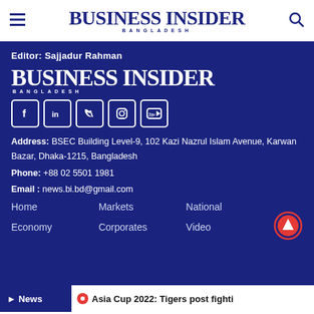BUSINESS INSIDER BANGLADESH
Editor: Sajjadur Rahman
[Figure (logo): Business Insider Bangladesh white logo on dark blue background]
[Figure (infographic): Social media icons: Facebook, LinkedIn, Twitter, Instagram, YouTube]
Address: BSEC Building Level-9, 102 Kazi Nazrul Islam Avenue, Karwan Bazar, Dhaka-1215, Bangladesh
Phone: +88 02 5501 1981
Email : news.bi.bd@gmail.com
Home
Markets
National
Economy
Corporates
Video
► News   ⦿ Asia Cup 2022: Tigers post fighti